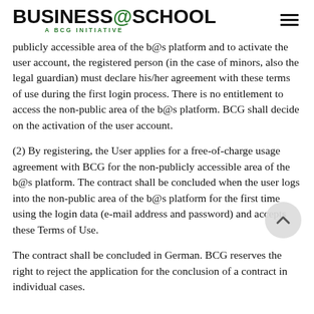BUSINESS@SCHOOL A BCG INITIATIVE
publicly accessible area of the b@s platform and to activate the user account, the registered person (in the case of minors, also the legal guardian) must declare his/her agreement with these terms of use during the first login process. There is no entitlement to access the non-public area of the b@s platform. BCG shall decide on the activation of the user account.
(2) By registering, the User applies for a free-of-charge usage agreement with BCG for the non-publicly accessible area of the b@s platform. The contract shall be concluded when the user logs into the non-public area of the b@s platform for the first time using the login data (e-mail address and password) and accepts these Terms of Use.
The contract shall be concluded in German. BCG reserves the right to reject the application for the conclusion of a contract in individual cases.